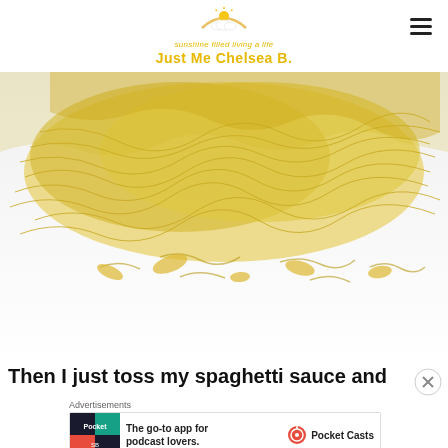sunshine filled living a life Just Me Chelsea B.
[Figure (photo): Close-up photo of spaghetti squash strands on a white plate/surface, showing yellow fibrous strands filling the top portion of the image]
Then I just toss my spaghetti sauce and
[Figure (other): Advertisement banner: 'The go-to app for podcast lovers.' - Pocket Casts]